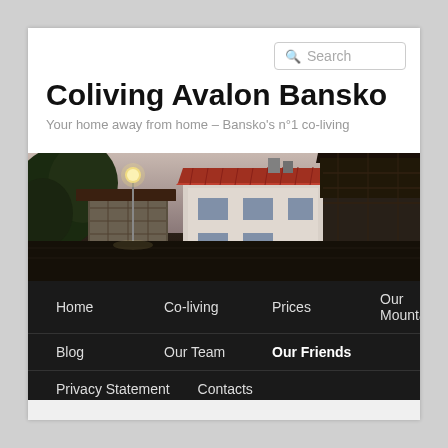Coliving Avalon Bansko
Your home away from home – Bansko's n°1 co-living
[Figure (photo): Street scene in Bansko with traditional Bulgarian houses, stone walls, red-tiled roofs, green trees and street lamps in the evening]
Home
Co-living
Prices
Our Mountains
Blog
Our Team
Our Friends
Privacy Statement
Contacts